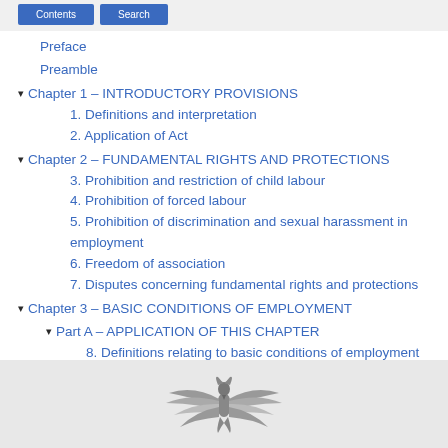Preface
Preamble
Chapter 1 – INTRODUCTORY PROVISIONS
1. Definitions and interpretation
2. Application of Act
Chapter 2 – FUNDAMENTAL RIGHTS AND PROTECTIONS
3. Prohibition and restriction of child labour
4. Prohibition of forced labour
5. Prohibition of discrimination and sexual harassment in employment
6. Freedom of association
7. Disputes concerning fundamental rights and protections
Chapter 3 – BASIC CONDITIONS OF EMPLOYMENT
Part A – APPLICATION OF THIS CHAPTER
8. Definitions relating to basic conditions of employment
9. Basic conditions
Part B – REMUNERATION
10. Calculation of remuneration and basic wages
11. Payment of remuneration
[Figure (illustration): Coat of arms / eagle emblem in grayscale at the bottom of the page]